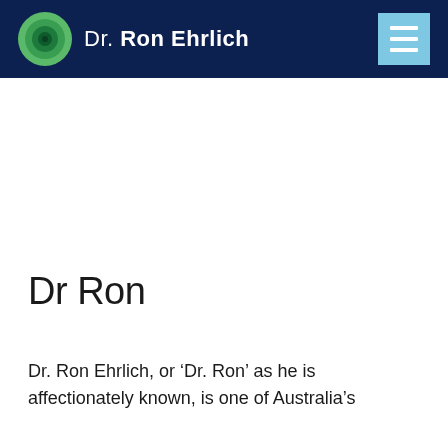Dr. Ron Ehrlich
Dr Ron
Dr. Ron Ehrlich, or ‘Dr. Ron’ as he is affectionately known, is one of Australia’s